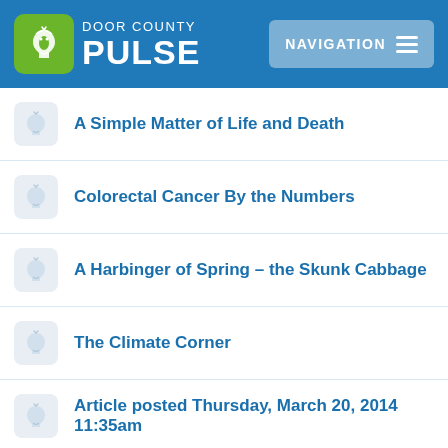Door County Pulse — Navigation
A Simple Matter of Life and Death
Colorectal Cancer By the Numbers
A Harbinger of Spring – the Skunk Cabbage
The Climate Corner
Article posted Thursday, March 20, 2014 11:35am